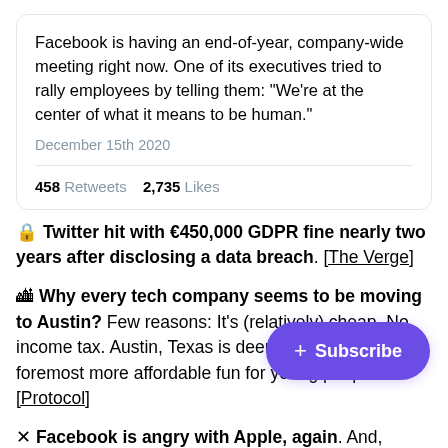Facebook is having an end-of-year, company-wide meeting right now. One of its executives tried to rally employees by telling them: "We're at the center of what it means to be human."
December 15th 2020
458 Retweets  2,735 Likes
🔒 Twitter hit with €450,000 GDPR fine nearly two years after disclosing a data breach. [The Verge]
🏙 Why every tech company seems to be moving to Austin? Few reasons: It's (relatively) cheap. No income tax. Austin, Texas is deemed more and foremost more affordable fun for young people. [Protocol]
✕ Facebook is angry with Apple, again. And, again,